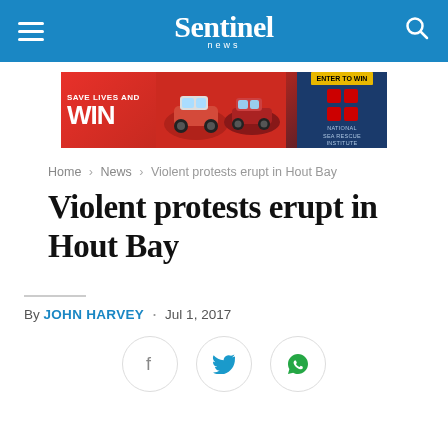Sentinel News
[Figure (infographic): Advertisement banner: Save Lives and WIN - National Sea Rescue Institute. Red background with cars and dark blue right panel.]
Home › News › Violent protests erupt in Hout Bay
Violent protests erupt in Hout Bay
By JOHN HARVEY · Jul 1, 2017
[Figure (infographic): Social share buttons: Facebook, Twitter, WhatsApp]